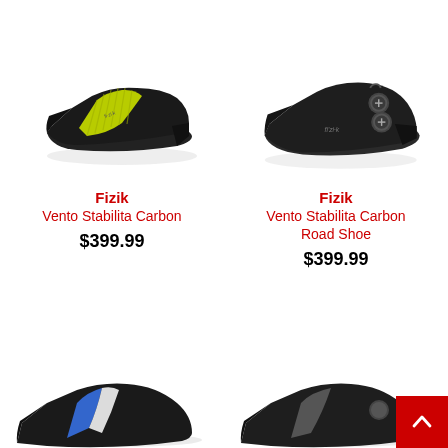[Figure (photo): Fizik Vento Stabilita Carbon cycling shoe, black with yellow-green accent, side view facing left]
Fizik
Vento Stabilita Carbon
$399.99
[Figure (photo): Fizik Vento Stabilita Carbon Road Shoe, all black with dual boa dials, side view facing left]
Fizik
Vento Stabilita Carbon Road Shoe
$399.99
[Figure (photo): Partial view of cycling shoe, black and blue/white, bottom left corner]
[Figure (photo): Partial view of cycling shoe, black, bottom right corner]